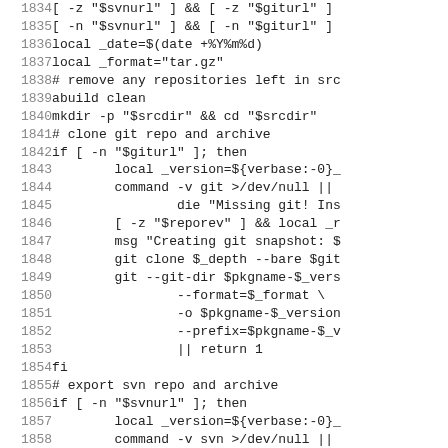[Figure (screenshot): Source code listing (shell script) with line numbers 1834–1863 showing bash/shell script functions for cloning git repositories and exporting svn repositories, creating archives.]